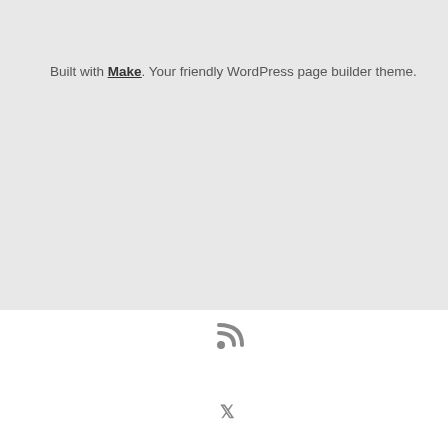Built with Make. Your friendly WordPress page builder theme.
[Figure (other): RSS feed icon and X (Twitter) icon in white footer bar]